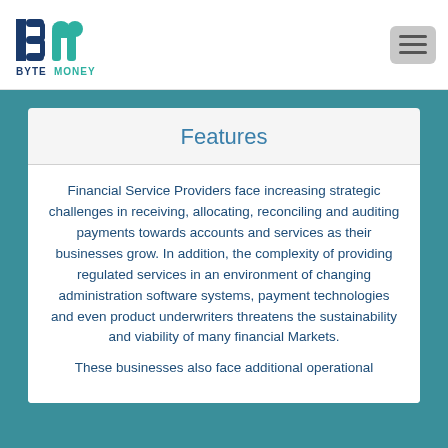[Figure (logo): Byte Money logo: stylized 'Bm' letters in dark blue and teal, with 'BYTE MONEY' text below in dark blue and teal]
Features
Financial Service Providers face increasing strategic challenges in receiving, allocating, reconciling and auditing payments towards accounts and services as their businesses grow. In addition, the complexity of providing regulated services in an environment of changing administration software systems, payment technologies and even product underwriters threatens the sustainability and viability of many financial Markets.
These businesses also face additional operational